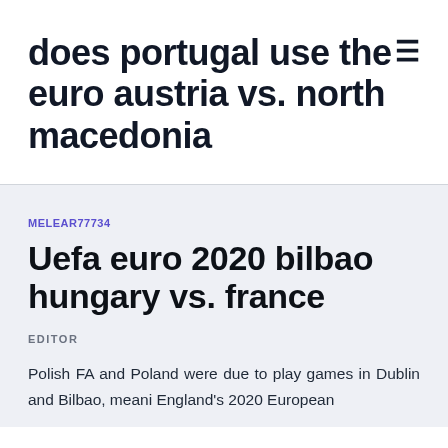does portugal use the euro austria vs. north macedonia
MELEAR77734
Uefa euro 2020 bilbao hungary vs. france
EDITOR
Polish FA and Poland were due to play games in Dublin and Bilbao, meani England's 2020 European